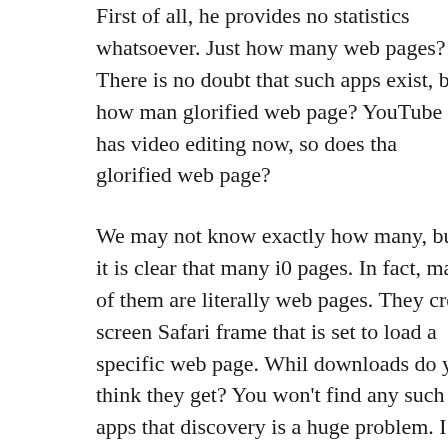First of all, he provides no statistics whatsoever. Just how many web pages? There is no doubt that such apps exist, but how many glorified web page? YouTube has video editing now, so does that glorified web page?
We may not know exactly how many, but it is clear that many iOS pages. In fact, many of them are literally web pages. They create a screen Safari frame that is set to load a specific web page. While downloads do you think they get? You won't find any such apps that discovery is a huge problem. I highly doubt such apps are p
Now, you may try to suggest that some apps like Facebook, New are the glorified web pages that are installed frequently. Well, th They also all provide significant functionality above and beyond even though they offer the same content.
Yes, they are optimized for a touch interface, which is very impo optimized for mobile Safari, so the app doesn't provide a huge b a huge benefit is in things like caching. The New York Times ap